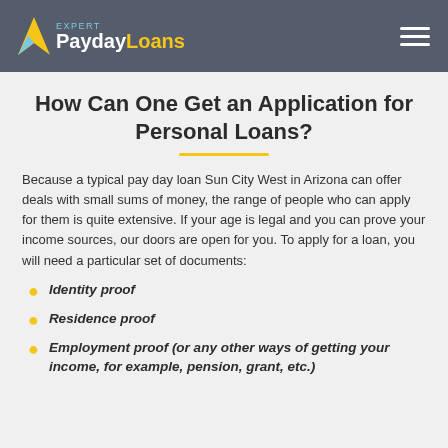EXPERT PaydayLoans
How Can One Get an Application for Personal Loans?
Because a typical pay day loan Sun City West in Arizona can offer deals with small sums of money, the range of people who can apply for them is quite extensive. If your age is legal and you can prove your income sources, our doors are open for you. To apply for a loan, you will need a particular set of documents:
Identity proof
Residence proof
Employment proof (or any other ways of getting your income, for example, pension, grant, etc.)